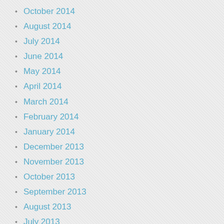October 2014
August 2014
July 2014
June 2014
May 2014
April 2014
March 2014
February 2014
January 2014
December 2013
November 2013
October 2013
September 2013
August 2013
July 2013
June 2013
May 2013
April 2013
January 2013